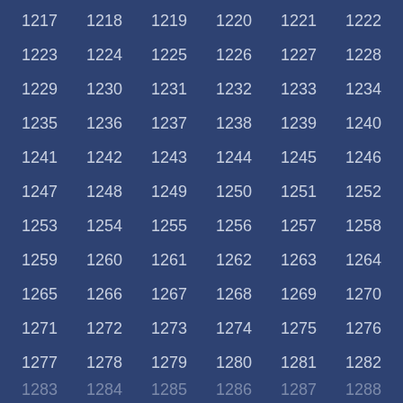| 1217 | 1218 | 1219 | 1220 | 1221 | 1222 |
| 1223 | 1224 | 1225 | 1226 | 1227 | 1228 |
| 1229 | 1230 | 1231 | 1232 | 1233 | 1234 |
| 1235 | 1236 | 1237 | 1238 | 1239 | 1240 |
| 1241 | 1242 | 1243 | 1244 | 1245 | 1246 |
| 1247 | 1248 | 1249 | 1250 | 1251 | 1252 |
| 1253 | 1254 | 1255 | 1256 | 1257 | 1258 |
| 1259 | 1260 | 1261 | 1262 | 1263 | 1264 |
| 1265 | 1266 | 1267 | 1268 | 1269 | 1270 |
| 1271 | 1272 | 1273 | 1274 | 1275 | 1276 |
| 1277 | 1278 | 1279 | 1280 | 1281 | 1282 |
| 1283 | 1284 | 1285 | 1286 | 1287 | 1288 |